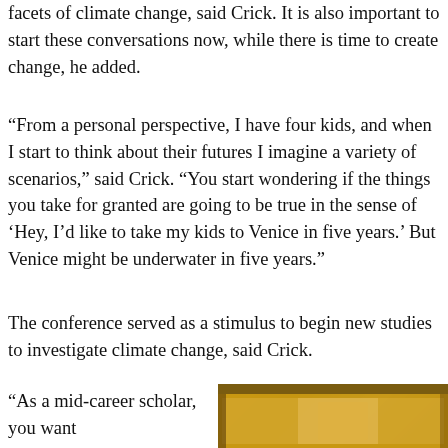facets of climate change, said Crick. It is also important to start these conversations now, while there is time to create change, he added.
“From a personal perspective, I have four kids, and when I start to think about their futures I imagine a variety of scenarios,” said Crick. “You start wondering if the things you take for granted are going to be true in the sense of ‘Hey, I’d like to take my kids to Venice in five years.’ But Venice might be underwater in five years.”
The conference served as a stimulus to begin new studies to investigate climate change, said Crick.
“As a mid-career scholar, you want
[Figure (photo): A partial photograph showing what appears to be a room interior with warm yellow/ochre tones, possibly showing a person or artwork.]